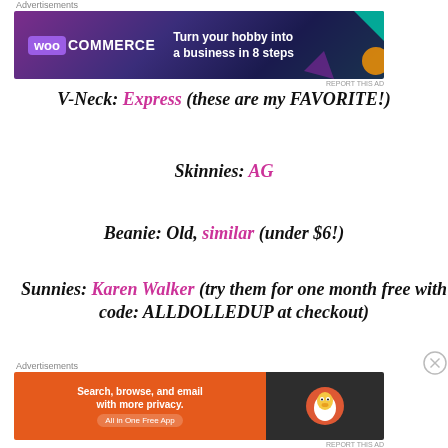[Figure (other): WooCommerce advertisement banner: purple/dark background with WooCommerce logo and text 'Turn your hobby into a business in 8 steps']
V-Neck: Express (these are my FAVORITE!)
Skinnies: AG
Beanie: Old, similar (under $6!)
Sunnies: Karen Walker (try them for one month free with code: ALLDOLLEDUP at checkout)
[Figure (other): DuckDuckGo advertisement banner: orange left side 'Search, browse, and email with more privacy. All in One Free App' and dark right side with DuckDuckGo logo]